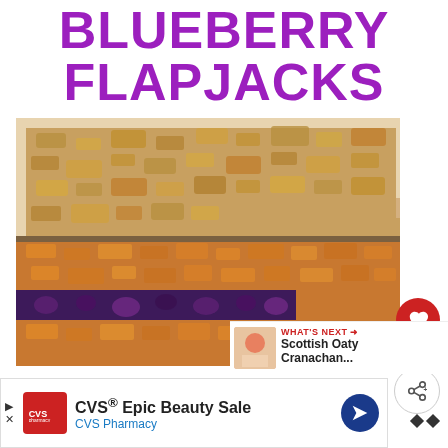BLUEBERRY FLAPJACKS
[Figure (photo): Close-up photo of blueberry flapjack bars showing oat crumble topping with blueberry jam filling on parchment paper]
14
WHAT'S NEXT → Scottish Oaty Cranachan...
CVS® Epic Beauty Sale
CVS Pharmacy